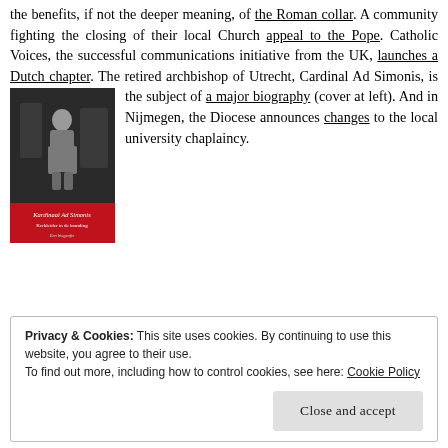the benefits, if not the deeper meaning, of the Roman collar. A community fighting the closing of their local Church appeal to the Pope. Catholic Voices, the successful communications initiative from the UK, launches a Dutch chapter. The retired archbishop of Utrecht, Cardinal Ad Simonis, is the subject of a major biography (cover at left). And in Nijmegen, the Diocese announces changes to the local university chaplaincy.
[Figure (photo): Book cover of 'Kardinaal Ad Simonis: Kerkleider in de branding – Een biografie'. Black and white photo of a man standing in a room, with a red band at the bottom showing the title text.]
Privacy & Cookies: This site uses cookies. By continuing to use this website, you agree to their use.
To find out more, including how to control cookies, see here: Cookie Policy